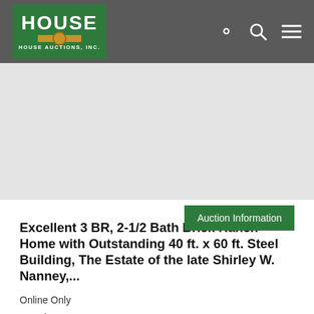HOUSE AUCTIONS, INC.
[Figure (photo): Property photo area (blank/loading placeholder for auction listing image)]
Auction Information
Excellent 3 BR, 2-1/2 Bath Brick Ranch Home with Outstanding 40 ft. x 60 ft. Steel Building, The Estate of the late Shirley W. Nanney,...
Online Only
Tuesday, SEPTEMBER 13 at 4:00 PM
Aurora, NC